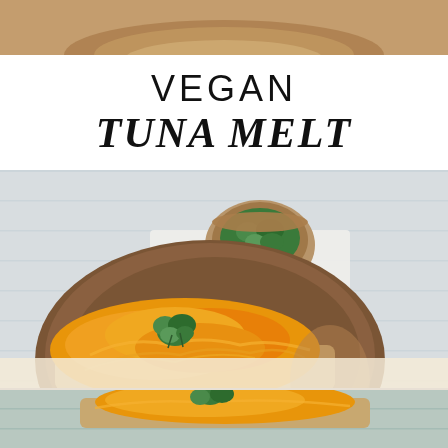[Figure (photo): Top cropped photo showing a partial view of a vegan tuna melt dish with warm tones]
VEGAN
TUNA MELT
[Figure (photo): Main photo of a vegan tuna melt sandwich on a brown ceramic plate, topped with melted vegan cheddar cheese and fresh cilantro, with a small wooden bowl of herbs in the background]
[Figure (photo): Bottom cropped photo showing another angle of the vegan tuna melt with melted cheese and cilantro on a light blue surface]